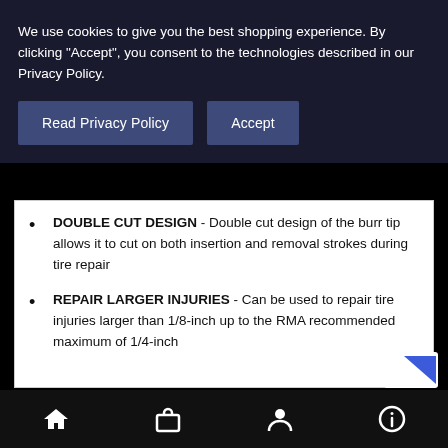We use cookies to give you the best shopping experience. By clicking "Accept", you consent to the technologies described in our Privacy Policy.
Read Privacy Policy | Accept
DOUBLE CUT DESIGN - Double cut design of the burr tip allows it to cut on both insertion and removal strokes during tire repair
REPAIR LARGER INJURIES - Can be used to repair tire injuries larger than 1/8-inch up to the RMA recommended maximum of 1/4-inch